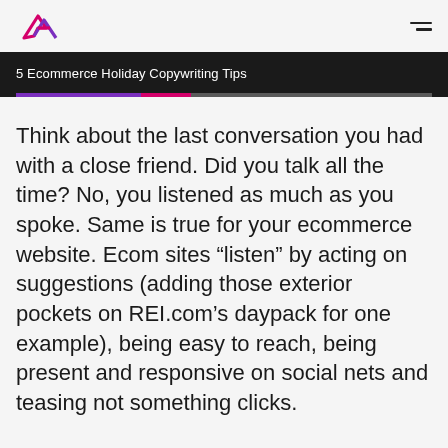5 Ecommerce Holiday Copywriting Tips
Think about the last conversation you had with a close friend. Did you talk all the time? No, you listened as much as you spoke. Same is true for your ecommerce website. Ecom sites “listen” by acting on suggestions (adding those exterior pockets on REI.com’s daypack for one example), being easy to reach, being present and responsive on social nets and teasing not something clicks.